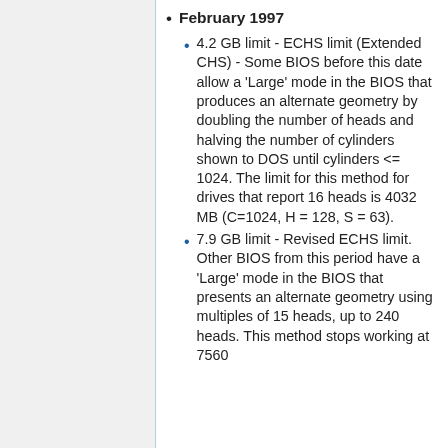February 1997
4.2 GB limit - ECHS limit (Extended CHS) - Some BIOS before this date allow a 'Large' mode in the BIOS that produces an alternate geometry by doubling the number of heads and halving the number of cylinders shown to DOS until cylinders <= 1024. The limit for this method for drives that report 16 heads is 4032 MB (C=1024, H = 128, S = 63).
7.9 GB limit - Revised ECHS limit. Other BIOS from this period have a 'Large' mode in the BIOS that presents an alternate geometry using multiples of 15 heads, up to 240 heads. This method stops working at 7560